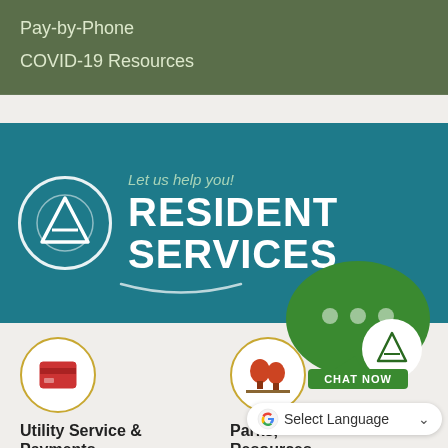Pay-by-Phone
COVID-19 Resources
[Figure (infographic): Teal banner with Apex town logo circle on left, text 'Let us help you!' above large bold white text 'RESIDENT SERVICES', with decorative arc underline]
[Figure (infographic): Circular icon with gold border containing red credit card icon, labeled 'Utility Service & Payments']
[Figure (infographic): Circular icon with gold border containing red trees/park icon, labeled 'Parks, Resources']
[Figure (infographic): Green speech bubble chat widget with Apex logo and 'CHAT NOW' button]
Select Language